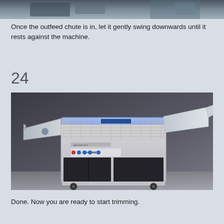[Figure (photo): Partial top view of a machine or hands operating a chute — cropped photo at top of page]
Once the outfeed chute is in, let it gently swing downwards until it rests against the machine.
24
[Figure (photo): Full view of an industrial trimming machine on wheels, with blue UV light strip on top, control panel with buttons, dark lower panels, left infeed angled chute, and right outfeed angled chute in extended position.]
Done. Now you are ready to start trimming.